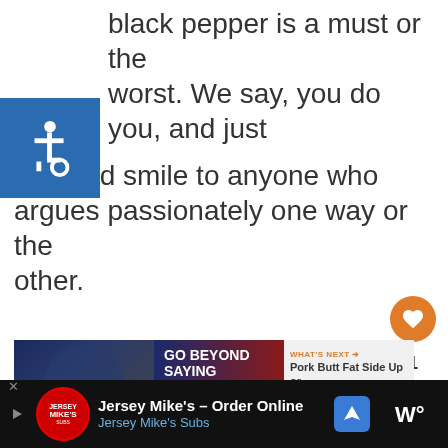black pepper is a must or the worst. We say, you do you, and just nod and smile to anyone who argues passionately one way or the other.
[Figure (screenshot): Accessibility wheelchair icon in blue square in top-left corner]
[Figure (screenshot): Orange heart/like button with count of 1 and share button on right side]
[Figure (screenshot): Ad banner: GO BEYOND SAYING THANK YOU with military imagery and WHAT'S NEXT: Pork Butt Fat Side Up or...]
[Figure (screenshot): Bottom ad bar: Jersey Mike's - Order Online, Jersey Mike's Subs with logo and map navigation icon]